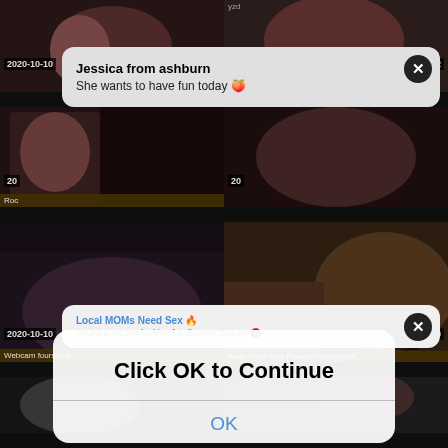[Figure (screenshot): Video thumbnail grid with adult content website. Top-left thumbnail shows date 2020-10-10 and duration 54:07. Top-right thumbnail shows date 2020-10-10 and duration 7:12.]
[Figure (screenshot): Notification popup: Jessica from ashburn - She wants to have fun today with emoji]
[Figure (screenshot): Second row thumbnails with dates 2020-10-10, label Roc, duration 20. Ad popup: Local MOMs Need Sex, MILFs & MOMs looking for discreet Sex 30-]
[Figure (screenshot): Third row: Webcam foursome thumbnail dated 2020-10-10 duration 1:9:06. Karen Fisher Gets Pounded By Neighbor dated 2020-10-10 SEXYKA 6:00]
[Figure (screenshot): Dialog box: Click OK to Continue with OK button]
[Figure (screenshot): Fourth row partial thumbnails]